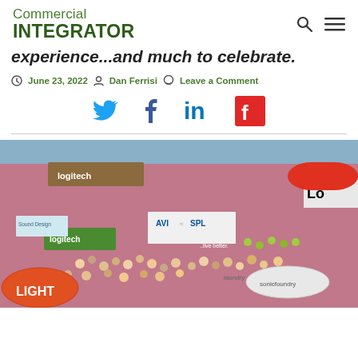Commercial INTEGRATOR
experience...and much to celebrate.
June 23, 2022  Dan Ferrisi  Leave a Comment
[Figure (other): Social media sharing icons: Twitter (blue bird), Facebook (f), LinkedIn (in), Flipboard (red square with white f)]
[Figure (photo): Aerial view of a large trade show exhibition floor with numerous vendor booths including Logitech, AVI SPL, Sonic Foundry, and others, with crowds of attendees walking on a pink/red carpet.]